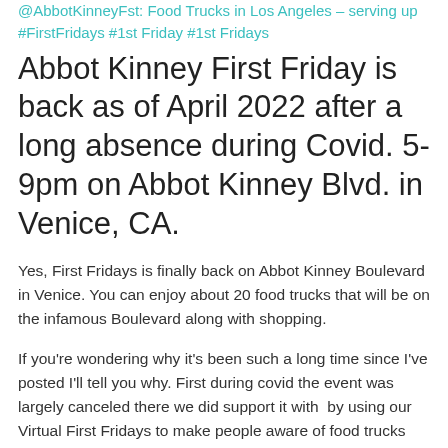@AbbotKinneyFst: Food Trucks in Los Angeles – serving up #FirstFridays #1st Friday #1st Fridays
Abbot Kinney First Friday is back as of April 2022 after a long absence during Covid. 5-9pm on Abbot Kinney Blvd. in Venice, CA.
Yes, First Fridays is finally back on Abbot Kinney Boulevard  in Venice. You can enjoy about 20 food trucks that will be on the infamous Boulevard along with shopping.
If you're wondering why it's been such a long time since I've posted I'll tell you why. First during covid the event was largely canceled there we did support it with  by using our Virtual First Fridays to make people aware of food trucks that were